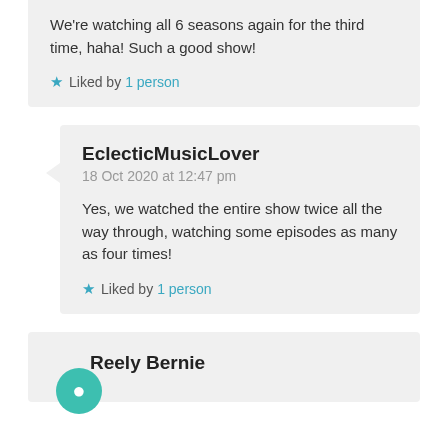We're watching all 6 seasons again for the third time, haha! Such a good show!
Liked by 1 person
EclecticMusicLover
18 Oct 2020 at 12:47 pm
Yes, we watched the entire show twice all the way through, watching some episodes as many as four times!
Liked by 1 person
Reely Bernie